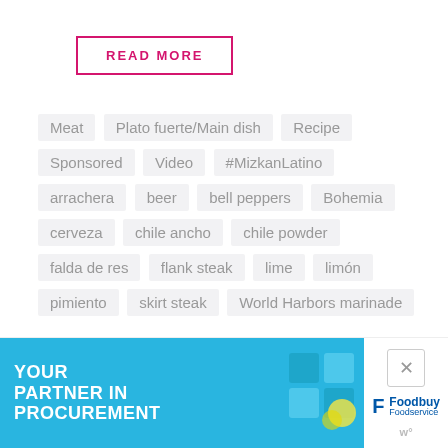READ MORE
Meat
Plato fuerte/Main dish
Recipe
Sponsored
Video
#MizkanLatino
arrachera
beer
bell peppers
Bohemia
cerveza
chile ancho
chile powder
falda de res
flank steak
lime
limón
pimiento
skirt steak
World Harbors marinade
[Figure (screenshot): Advertisement banner: 'YOUR PARTNER IN PROCUREMENT' with Foodbuy Foodservice logo and close button]